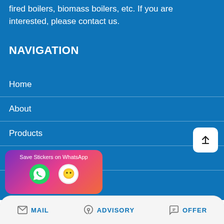fired boilers, biomass boilers, etc. If you are interested, please contact us.
NAVIGATION
Home
About
Products
Project
[Figure (screenshot): WhatsApp sticker saver banner with purple-to-pink gradient, showing WhatsApp and emoji icons]
MAIL   ADVISORY   OFFER